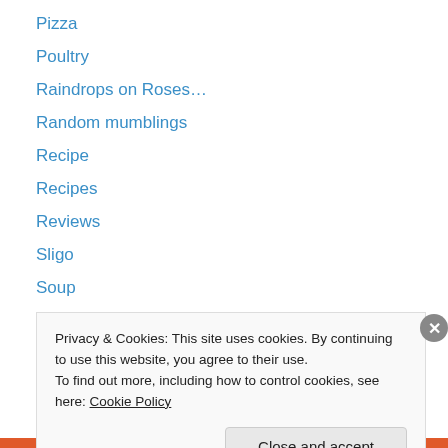Pizza
Poultry
Raindrops on Roses…
Random mumblings
Recipe
Recipes
Reviews
Sligo
Soup
Student life recipes
Study
Summer
The cafe tour
Privacy & Cookies: This site uses cookies. By continuing to use this website, you agree to their use. To find out more, including how to control cookies, see here: Cookie Policy
Close and accept